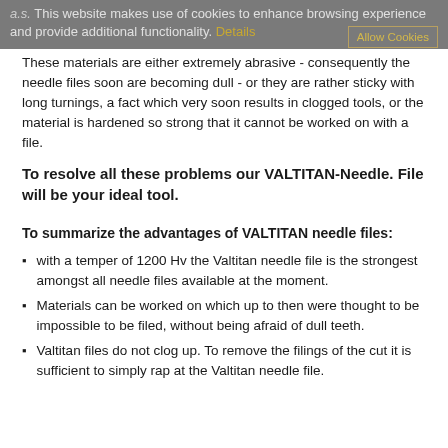a.s. This website makes use of cookies to enhance browsing experience and provide additional functionality. Details  Allow Cookies
These materials are either extremely abrasive - consequently the needle files soon are becoming dull - or they are rather sticky with long turnings, a fact which very soon results in clogged tools, or the material is hardened so strong that it cannot be worked on with a file.
To resolve all these problems our VALTITAN-Needle. File will be your ideal tool.
To summarize the advantages of VALTITAN needle files:
with a temper of 1200 Hv the Valtitan needle file is the strongest amongst all needle files available at the moment.
Materials can be worked on which up to then were thought to be impossible to be filed, without being afraid of dull teeth.
Valtitan files do not clog up. To remove the filings of the cut it is sufficient to simply rap at the Valtitan needle file.